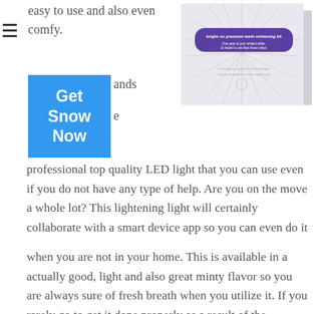easy to use and also even comfy.
[Figure (photo): Product box of 'bright on premium teeth whitening kit' on white background]
ands
e
Get Snow Now
professional top quality LED light that you can use even if you do not have any type of help. Are you on the move a whole lot? This lightening light will certainly collaborate with a smart device app so you can even do it
when you are not in your home. This is available in a actually good, light and also great minty flavor so you are always sure of fresh breath when you utilize it. If you rarely go to get it done properly as a result of the discomfort caused by